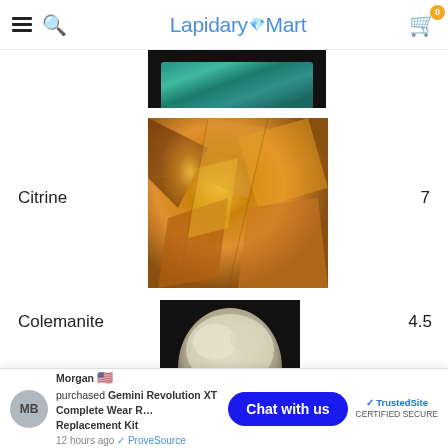LapidaryMart — navigation header with hamburger menu, search, logo, and cart (0 items)
[Figure (photo): Partial image of a teal/green stone on black background, cropped at top]
Citrine
[Figure (photo): Close-up photo of golden/amber citrine crystal cluster]
7
Colemanite
[Figure (photo): Photo of white/cream colemanite mineral specimen on black background]
4.5
[Figure (photo): Partial image with red background, bottom of page, partially obscured]
o 4
Morgan 🇺🇸 purchased Gemini Revolution XT Complete Wear Replacement Kit — 12 hours ago · ProveSource
Chat with us
TrustedSite CERTIFIED SECURE